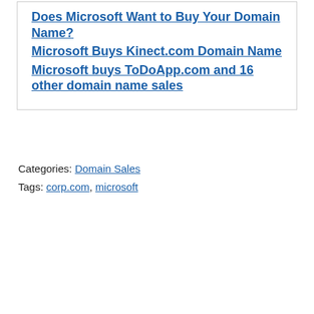Does Microsoft Want to Buy Your Domain Name?
Microsoft Buys Kinect.com Domain Name
Microsoft buys ToDoApp.com and 16 other domain name sales
Categories: Domain Sales
Tags: corp.com, microsoft